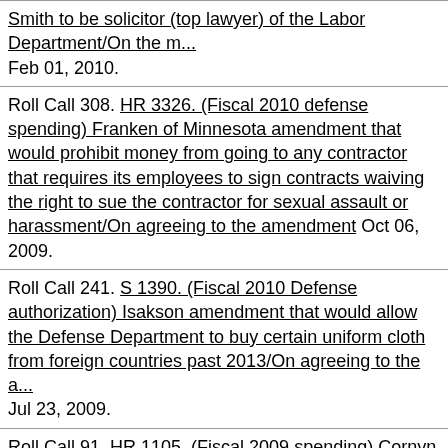Smith to be solicitor (top lawyer) of the Labor Department/On the m... Feb 01, 2010.
Roll Call 308. HR 3326. (Fiscal 2010 defense spending) Franken of Minnesota amendment that would prohibit money from going to any contractor that requires its employees to sign contracts waiving the right to sue the contractor for sexual assault or harassment/On agreeing to the amendment Oct 06, 2009.
Roll Call 241. S 1390. (Fiscal 2010 Defense authorization) Isakson amendment that would allow the Defense Department to buy certain uniform cloth from foreign countries past 2013/On agreeing to the a... Jul 23, 2009.
Roll Call 91. HR 1105. (Fiscal 2009 spending) Cornyn of Texas ame... that would preserve the effect of an executive order requiring that w... notified they are not required to join a union/On agreeing to the am... Mar 10, 2009.
Roll Call 44. HR 1. (Economic stimulus) McCain amendment that w... remove the economic stimulus bill's "Buy American" requirements/O... agreeing to the amendment Feb 04, 2009.
Roll Call 37. HR 1. (Economic stimulus) Vitter of Louisiana amend... would delete $35 billion from the economic stimulus bill/On agreein...